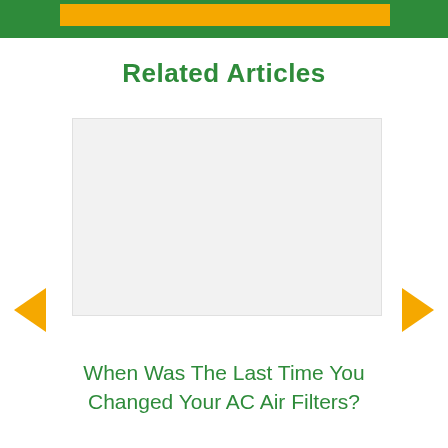Related Articles
[Figure (other): Gray placeholder image box for a related article thumbnail]
When Was The Last Time You Changed Your AC Air Filters?